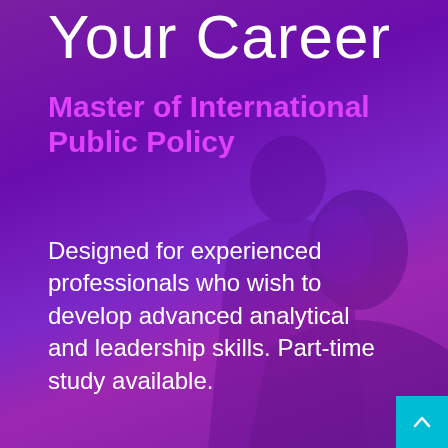Your Career
Master of International Public Policy
Designed for experienced professionals who wish to develop advanced analytical and leadership skills. Part-time study available.
[Figure (illustration): Silhouette/photo overlay of people (students/professionals) in purple-tinted background, occupying the right and lower portion of the page.]
[Figure (other): Cyan/teal navigation button with upward chevron arrow in bottom-right corner.]